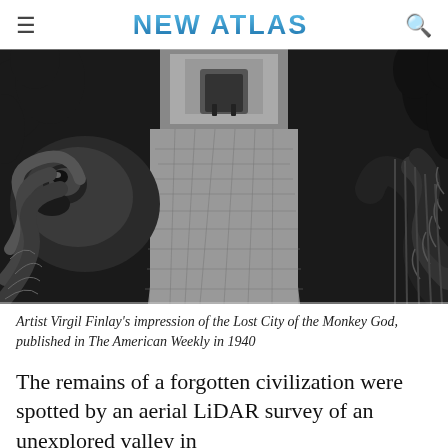NEW ATLAS
[Figure (illustration): Black and white artistic illustration by Virgil Finlay depicting the Lost City of the Monkey God. Shows a stone-paved pathway flanked by large carved serpent or dragon-like stone statues with intricate scale and coil details. Stone steps and a structure are visible in the background, surrounded by tropical foliage.]
Artist Virgil Finlay's impression of the Lost City of the Monkey God, published in The American Weekly in 1940
The remains of a forgotten civilization were spotted by an aerial LiDAR survey of an unexplored valley in